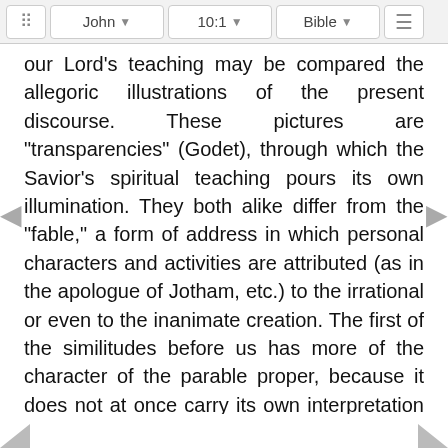John | 10:1 | Bible
our Lord's teaching may be compared the allegoric illustrations of the present discourse. These pictures are "transparencies" (Godet), through which the Savior's spiritual teaching pours its own illumination. They both alike differ from the "fable," a form of address in which personal characters and activities are attributed (as in the apologue of Jotham, etc.) to the irrational or even to the inanimate creation. The first of the similitudes before us has more of the character of the parable proper, because it does not at once carry its own interpretation with it. Vers. 1-6 represent in parabolic form the claims of those who aspired to provide a "door," i.e. a sure and safe entrance to the theocratic fold. In vers. 7-10 our Lord interprets and expands the first representation by gi... e had alread... ning,